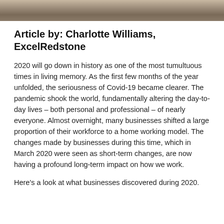[Figure (photo): A photo strip at the top of the page showing what appears to be a room or workspace setting, cropped to a narrow horizontal band.]
Article by: Charlotte Williams, ExcelRedstone
2020 will go down in history as one of the most tumultuous times in living memory. As the first few months of the year unfolded, the seriousness of Covid-19 became clearer. The pandemic shook the world, fundamentally altering the day-to-day lives – both personal and professional – of nearly everyone. Almost overnight, many businesses shifted a large proportion of their workforce to a home working model. The changes made by businesses during this time, which in March 2020 were seen as short-term changes, are now having a profound long-term impact on how we work.
Here's a look at what businesses discovered during 2020.